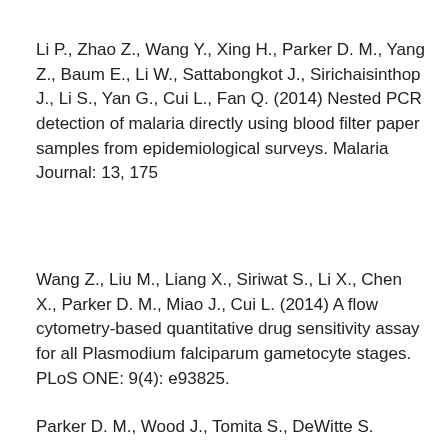Li P., Zhao Z., Wang Y., Xing H., Parker D. M., Yang Z., Baum E., Li W., Sattabongkot J., Sirichaisinthop J., Li S., Yan G., Cui L., Fan Q. (2014) Nested PCR detection of malaria directly using blood filter paper samples from epidemiological surveys. Malaria Journal: 13, 175
Wang Z., Liu M., Liang X., Siriwat S., Li X., Chen X., Parker D. M., Miao J., Cui L. (2014) A flow cytometry-based quantitative drug sensitivity assay for all Plasmodium falciparum gametocyte stages. PLoS ONE: 9(4): e93825.
Parker D. M., Wood J., Tomita S., DeWitte S.